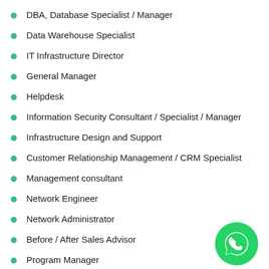DBA, Database Specialist / Manager
Data Warehouse Specialist
IT Infrastructure Director
General Manager
Helpdesk
Information Security Consultant / Specialist / Manager
Infrastructure Design and Support
Customer Relationship Management / CRM Specialist
Management consultant
Network Engineer
Network Administrator
Before / After Sales Advisor
Program Manager
Software Development Manager / Specialist
[Figure (logo): WhatsApp logo icon — green circle with white phone/chat handset symbol]